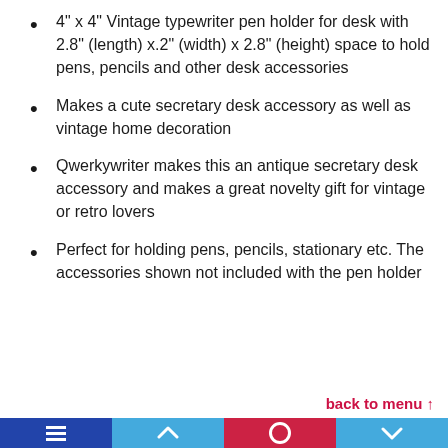4" x 4" Vintage typewriter pen holder for desk with 2.8" (length) x.2" (width) x 2.8" (height) space to hold pens, pencils and other desk accessories
Makes a cute secretary desk accessory as well as vintage home decoration
Qwerkywriter makes this an antique secretary desk accessory and makes a great novelty gift for vintage or retro lovers
Perfect for holding pens, pencils, stationary etc. The accessories shown not included with the pen holder
back to menu ↑
[navigation bar with icons]